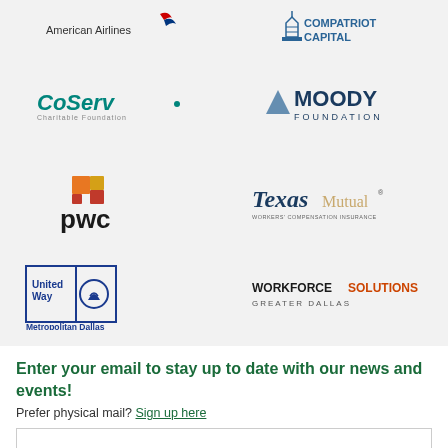[Figure (logo): American Airlines logo]
[Figure (logo): Compatriot Capital logo]
[Figure (logo): CoServ Charitable Foundation logo]
[Figure (logo): Moody Foundation logo]
[Figure (logo): PwC logo]
[Figure (logo): Texas Mutual Workers Compensation Insurance logo]
[Figure (logo): United Way Metropolitan Dallas logo]
[Figure (logo): Workforce Solutions Greater Dallas logo]
Enter your email to stay up to date with our news and events!
Prefer physical mail? Sign up here